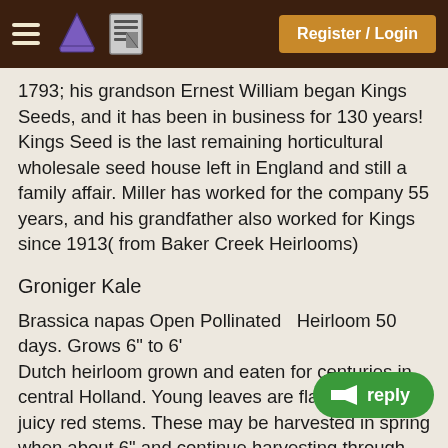Register / Login
1793; his grandson Ernest William began Kings Seeds, and it has been in business for 130 years! Kings Seed is the last remaining horticultural wholesale seed house left in England and still a family affair. Miller has worked for the company 55 years, and his grandfather also worked for Kings since 1913( from Baker Creek Heirlooms)
Groniger Kale
Brassica napas Open Pollinated  Heirloom 50 days. Grows 6" to 6'
Dutch heirloom grown and eaten for centuries in central Holland. Young leaves are flat with tender, juicy red stems. These may be harvested in spring when about 6" and continue harvesting through the spring and into winter. Grow as you would other kales.
Use in salads, stir-frys, soups etc. and enjoy the fine taste of this winter hardy variety that bears a